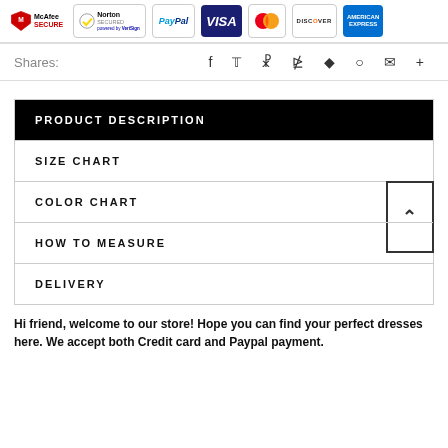[Figure (logo): Security badges including McAfee SECURE, Norton SECURED powered by VeriSign, PayPal, VISA, Mastercard, Discover, and American Express logos]
Shares: f y p ⊞ ◆ ♡ ✉ +
PRODUCT DESCRIPTION
SIZE CHART
COLOR CHART
HOW TO MEASURE
DELIVERY
Hi friend, welcome to our store! Hope you can find your perfect dresses here. We accept both Credit card and Paypal payment.